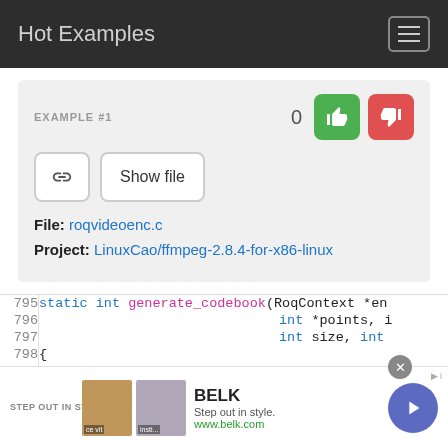Hot Examples
EXAMPLE #1
File: roqvideoenc.c
Project: LinuxCao/ffmpeg-2.8.4-for-x86-linux
[Figure (screenshot): Code snippet showing lines 795-800 of roqvideoenc.c with static int generate_codebook function definition and variable declarations]
BELK - Step out in style. www.belk.com